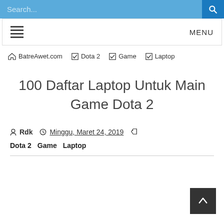Search...
MENU
BatreAwet.com   Dota 2   Game   Laptop
100 Daftar Laptop Untuk Main Game Dota 2
Rdk   Minggu, Maret 24, 2019
Dota 2   Game   Laptop